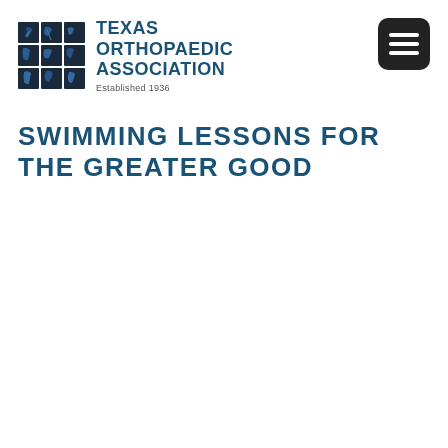[Figure (logo): Texas Orthopaedic Association logo with a 3x3 grid of dark blue squares containing bone/xray imagery, with text 'TEXAS ORTHOPAEDIC ASSOCIATION Established 1936']
SWIMMING LESSONS FOR THE GREATER GOOD